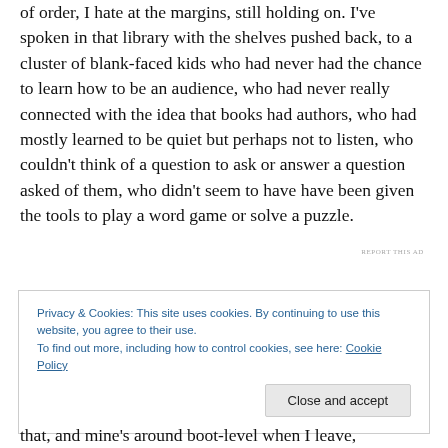of order, I hate at the margins, still holding on. I've spoken in that library with the shelves pushed back, to a cluster of blank-faced kids who had never had the chance to learn how to be an audience, who had never really connected with the idea that books had authors, who had mostly learned to be quiet but perhaps not to listen, who couldn't think of a question to ask or answer a question asked of them, who didn't seem to have have been given the tools to play a word game or solve a puzzle.
REPORT THIS AD
Privacy & Cookies: This site uses cookies. By continuing to use this website, you agree to their use.
To find out more, including how to control cookies, see here: Cookie Policy
Close and accept
that, and mine's around boot-level when I leave,